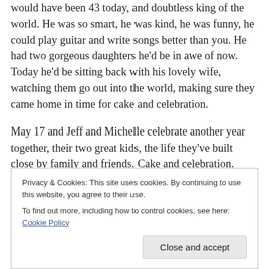would have been 43 today, and doubtless king of the world. He was so smart, he was kind, he was funny, he could play guitar and write songs better than you. He had two gorgeous daughters he'd be in awe of now. Today he'd be sitting back with his lovely wife, watching them go out into the world, making sure they came home in time for cake and celebration.
May 17 and Jeff and Michelle celebrate another year together, their two great kids, the life they've built close by family and friends. Cake and celebration. There's not much more that's needed in this life.
Privacy & Cookies: This site uses cookies. By continuing to use this website, you agree to their use. To find out more, including how to control cookies, see here: Cookie Policy